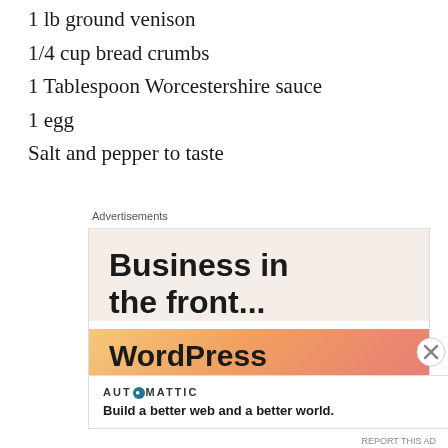1 lb ground venison
1/4 cup bread crumbs
1 Tablespoon Worcestershire sauce
1 egg
Salt and pepper to taste
Advertisements
[Figure (infographic): WordPress advertisement banner: 'Business in the front...' text on light pink/beige background, with 'WordPress in the back' on orange-to-pink gradient background]
Advertisements
[Figure (infographic): Automattic advertisement: logo text 'AUTOMATTIC' with circle icon, tagline 'Build a better web and a better world.']